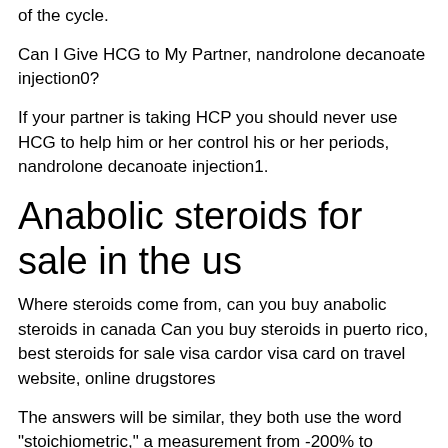of the cycle.
Can I Give HCG to My Partner, nandrolone decanoate injection0?
If your partner is taking HCP you should never use HCG to help him or her control his or her periods, nandrolone decanoate injection1.
Anabolic steroids for sale in the us
Where steroids come from, can you buy anabolic steroids in canada Can you buy steroids in puerto rico, best steroids for sale visa cardor visa card on travel website, online drugstores
The answers will be similar, they both use the word "stoichiometric," a measurement from -200% to +100% to make it sound like something that has been measured and